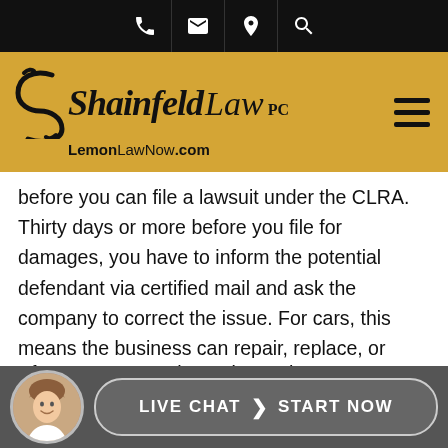[Figure (logo): Shainfeld Law PC logo with LemonLawNow.com tagline on gold background]
before you can file a lawsuit under the CLRA. Thirty days or more before you file for damages, you have to inform the potential defendant via certified mail and ask the company to correct the issue. For cars, this means the business can repair, replace, or reimburse you for your purchase that's in violation of the CLRA.
After you present the notice to the
[Figure (infographic): Live Chat - Start Now button bar with avatar photo at bottom of page]